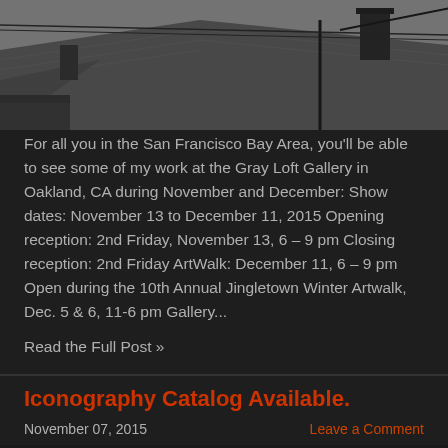[Figure (photo): Dark teal/green leaf or plant background image at top of page]
For all you in the San Francisco Bay Area, you'll be able to see some of my work at the Gray Loft Gallery in Oakland, CA during November and December: Show dates: November 13 to December 11, 2015 Opening reception: 2nd Friday, November 13, 6 – 9 pm Closing reception: 2nd Friday ArtWalk: December 11, 6 – 9 pm Open during the 10th Annual Jingletown Winter Artwalk, Dec. 5 & 6, 11-6 pm Gallery...
Read the Full Post »
Iconography Catalog Available.
November 07, 2015
Leave a Comment
[Figure (photo): Black and white photograph of building rooftops with chimneys and utility poles]